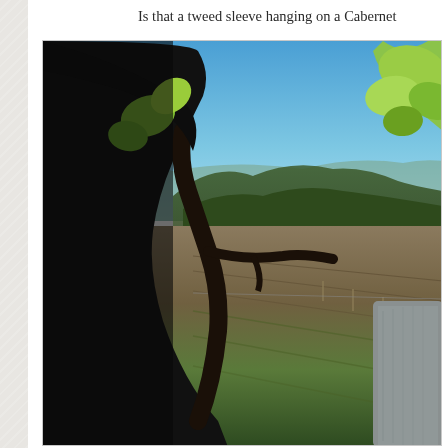Is that a tweed sleeve hanging on a Cabernet
[Figure (photo): Outdoor vineyard scene with a close-up silhouetted vine/figure in the foreground on the left, green leaves in the upper right corner, a grey sleeve visible on the right edge, and a sweeping view of rolling hills and mountain ridges under a clear blue sky in the background, with rows of grapevines visible in the middle ground.]